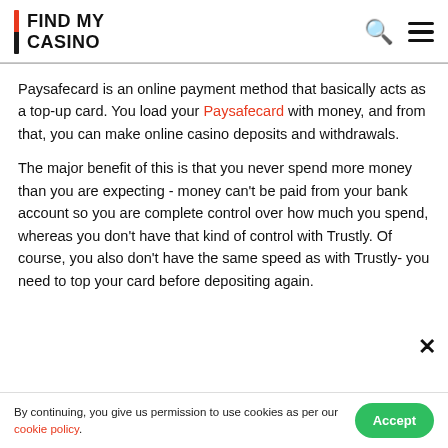FIND MY CASINO
Paysafecard is an online payment method that basically acts as a top-up card. You load your Paysafecard with money, and from that, you can make online casino deposits and withdrawals.
The major benefit of this is that you never spend more money than you are expecting - money can't be paid from your bank account so you are complete control over how much you spend, whereas you don't have that kind of control with Trustly. Of course, you also don't have the same speed as with Trustly- you need to top your card before depositing again.
By continuing, you give us permission to use cookies as per our cookie policy.